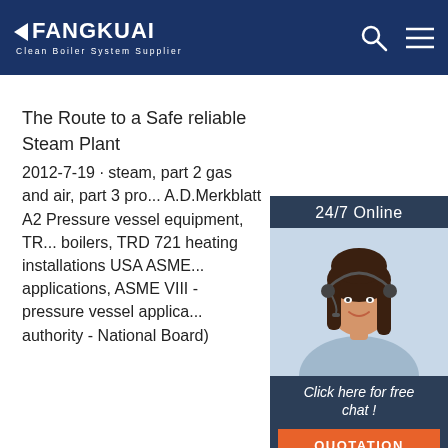[Figure (logo): Fangkuai logo with arrow icon and text 'Clean Boiler System Supplier' on dark blue header background with search and menu icons]
[Figure (photo): 24/7 Online customer service panel showing a woman with headset smiling, with 'Click here for free chat!' text and an orange QUOTATION button]
The Route to a Safe reliable Steam Plant
2012-7-19 · steam, part 2 gas and air, part 3 pro... A.D.Merkblatt A2 Pressure vessel equipment, TR... boilers, TRD 721 heating installations USA ASME... applications, ASME VIII - pressure vessel applica... authority - National Board)
[Figure (other): Orange 'Get Price' button]
[Figure (other): Orange TOP scroll-to-top button with dotted arc above the word TOP]